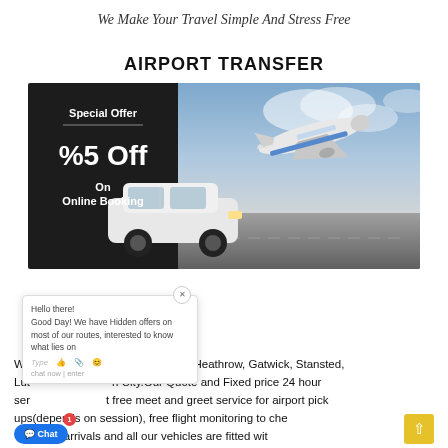We Make Your Travel Simple And Stress Free
AIRPORT TRANSFER
[Figure (photo): Airport transfer promotional banner with dark left panel showing 'Special Offer %5 Off On Online Booking' text, and right side showing a white car and passenger airplane taking off against a blue sky background.]
Hello there! Good Day! We have Hidden offers on most of our routes, interested to know what lies on
We provide a service to and from Heathrow, Gatwick, Stansted, Luton City.Our Quote and Fixed price 24 hour service, free meet and greet service for airport pick ups(depends on session), free flight monitoring to check late arrivals and all our vehicles are fitted with the